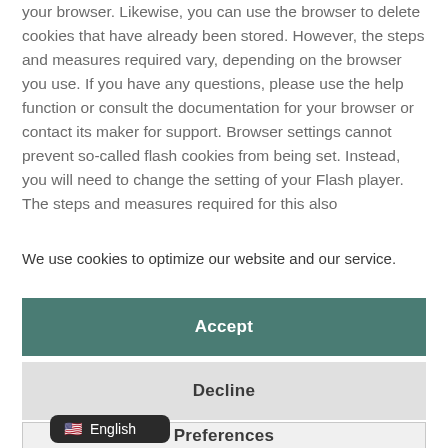your browser. Likewise, you can use the browser to delete cookies that have already been stored. However, the steps and measures required vary, depending on the browser you use. If you have any questions, please use the help function or consult the documentation for your browser or contact its maker for support. Browser settings cannot prevent so-called flash cookies from being set. Instead, you will need to change the setting of your Flash player. The steps and measures required for this also
We use cookies to optimize our website and our service.
[Figure (other): Accept button - teal/dark green background with white bold text 'Accept']
[Figure (other): Decline button - light grey background with dark bold text 'Decline']
[Figure (other): Preferences button - light grey background with border, dark bold text 'Preferences', and an English language selector pill in the bottom left corner]